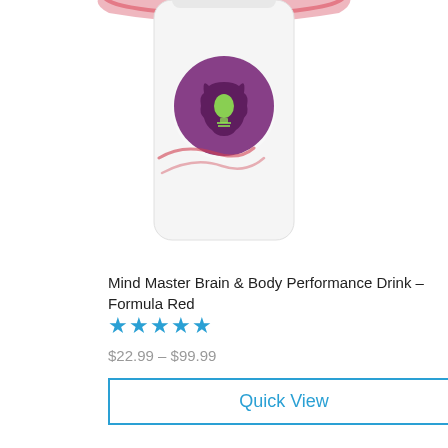[Figure (photo): Product image of Mind Master Brain & Body Performance Drink Formula Red bottle, partially cropped at top, showing white bottle with purple brain/lightbulb logo and red swirl design element at top]
Mind Master Brain & Body Performance Drink – Formula Red
★★★★★
$22.99 – $99.99
Quick View
[Figure (photo): Product image of green LR branded container/shaker top, partially cropped at bottom of page, showing metallic green cylindrical product with LR logo]